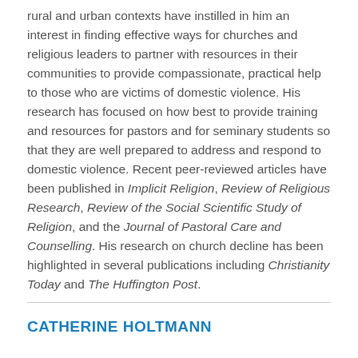rural and urban contexts have instilled in him an interest in finding effective ways for churches and religious leaders to partner with resources in their communities to provide compassionate, practical help to those who are victims of domestic violence. His research has focused on how best to provide training and resources for pastors and for seminary students so that they are well prepared to address and respond to domestic violence. Recent peer-reviewed articles have been published in Implicit Religion, Review of Religious Research, Review of the Social Scientific Study of Religion, and the Journal of Pastoral Care and Counselling. His research on church decline has been highlighted in several publications including Christianity Today and The Huffington Post.
CATHERINE HOLTMANN